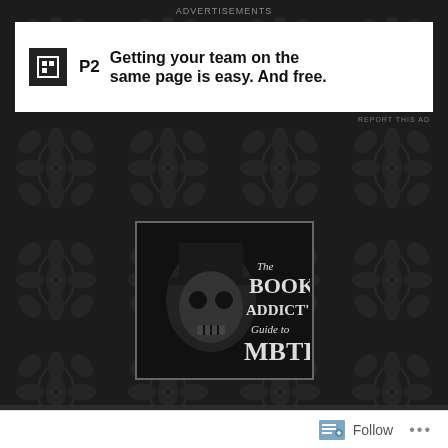Advertisements
[Figure (screenshot): P2 advertisement banner: logo with 'P2' text and tagline 'Getting your team on the same page is easy. And free.']
REPORT THIS AD
[Figure (logo): The Book Addict's Guide to MBTI blog logo — skull wearing top hat with stylized text]
≡ MENU
INTJ Fetishization
11TH JUL 2015
41 COMMENTS
Follow